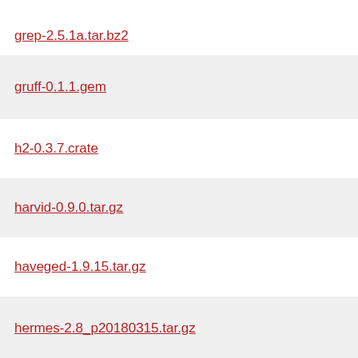grep-2.5.1a.tar.bz2
gruff-0.1.1.gem
h2-0.3.7.crate
harvid-0.9.0.tar.gz
haveged-1.9.15.tar.gz
hermes-2.8_p20180315.tar.gz